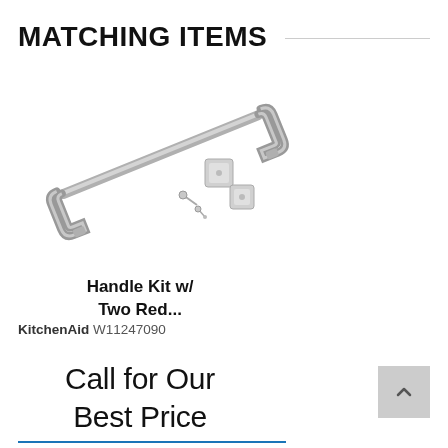MATCHING ITEMS
[Figure (photo): A stainless steel handle kit with mounting hardware including screws and plates, shown on a white background.]
Handle Kit w/ Two Red...
KitchenAid W11247090
Call for Our Best Price